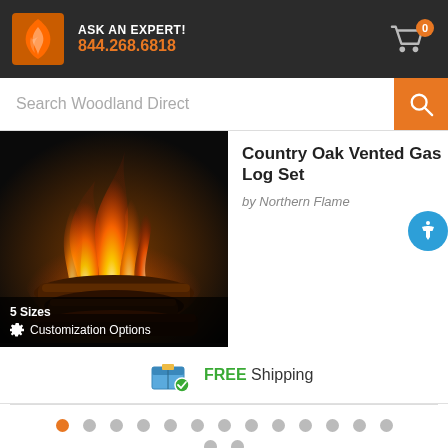ASK AN EXPERT! 844.268.6818
Search Woodland Direct
Country Oak Vented Gas Log Set
by Northern Flame
[Figure (photo): Gas log set with burning flames on wooden logs against a dark background. Overlay shows: 5 Sizes, Customization Options.]
FREE Shipping
Pagination dots: 1 active (orange), 12 inactive (gray) in first row; 2 inactive (gray) in second row